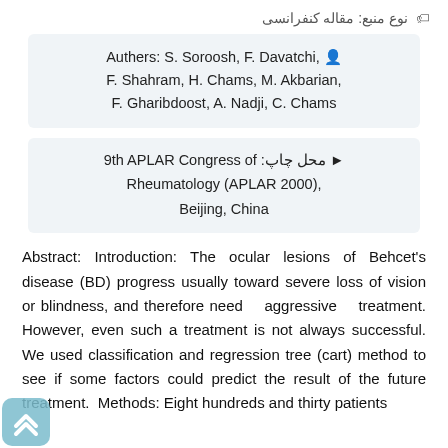نوع منبع: مقاله کنفرانسی
Authers: S. Soroosh, F. Davatchi, F. Shahram, H. Chams, M. Akbarian, F. Gharibdoost, A. Nadji, C. Chams
محل چاپ: 9th APLAR Congress of Rheumatology (APLAR 2000), Beijing, China
Abstract: Introduction: The ocular lesions of Behcet's disease (BD) progress usually toward severe loss of vision or blindness, and therefore need aggressive treatment. However, even such a treatment is not always successful. We used classification and regression tree (cart) method to see if some factors could predict the result of the future treatment. Methods: Eight hundreds and thirty patients